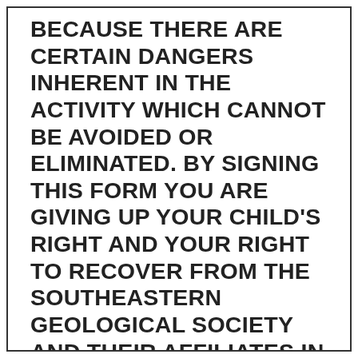BECAUSE THERE ARE CERTAIN DANGERS INHERENT IN THE ACTIVITY WHICH CANNOT BE AVOIDED OR ELIMINATED. BY SIGNING THIS FORM YOU ARE GIVING UP YOUR CHILD'S RIGHT AND YOUR RIGHT TO RECOVER FROM THE SOUTHEASTERN GEOLOGICAL SOCIETY AND THEIR AFFILIATES IN A LAWSUIT FOR ANY PERSONAL INJURY, INCLUDING DEATH, TO YOUR CHILD OR ANY PROPERTY DAMAGE THAT RESULTS FROM THE RISKS THAT ARE A NATURAL PART OF THE ACTIVITY. YOU HAVE THE RIGHT TO REFUSE TO SIGN THIS FORM, AND